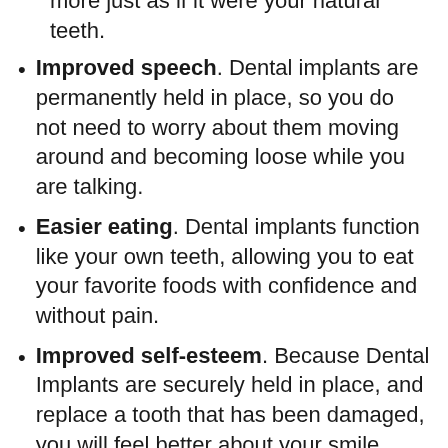more just as if it were your natural teeth.
Improved speech. Dental implants are permanently held in place, so you do not need to worry about them moving around and becoming loose while you are talking.
Easier eating. Dental implants function like your own teeth, allowing you to eat your favorite foods with confidence and without pain.
Improved self-esteem. Because Dental Implants are securely held in place, and replace a tooth that has been damaged, you will feel better about your smile. Dental Implants can give you the confidence you need to feel comfortable smiling.
Durability. Dental implants are very strong, and if properly taken care of can